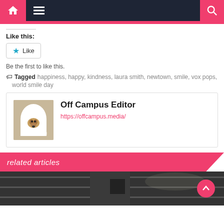Navigation bar with home, menu, and search icons
Like this:
Like
Be the first to like this.
Tagged happiness, happy, kindness, laura smith, newtown, smile, vox pops, world smile day
Off Campus Editor
https://offcampus.media/
related articles
[Figure (photo): Black and white interior photo visible at bottom of page]